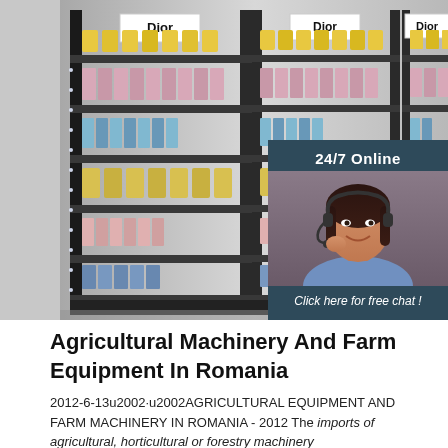[Figure (photo): Retail display shelves stocked with Dior branded products including cosmetics and bottles, shown in perspective view. An overlay in the top-right shows a '24/7 Online' chat service banner with a woman wearing a headset, a 'Click here for free chat!' message, and a 'QUOTATION' button.]
Agricultural Machinery And Farm Equipment In Romania
2012-6-13u2002·u2002AGRICULTURAL EQUIPMENT AND FARM MACHINERY IN ROMANIA - 2012 The imports of agricultural, horticultural or forestry machinery